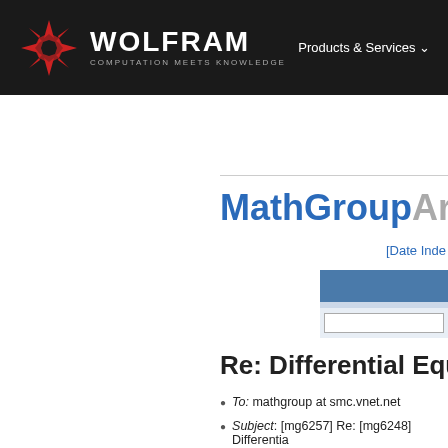WOLFRAM COMPUTATION MEETS KNOWLEDGE — Products & Services
MathGroupArchive
[Date Inde...
Re: Differential Equat...
To: mathgroup at smc.vnet.net
Subject: [mg6257] Re: [mg6248] Differentia...
From: seanross at worldnet.att.net